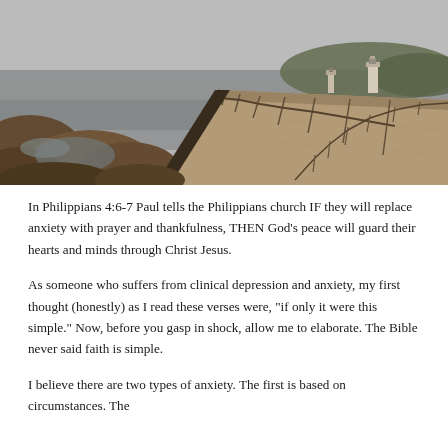[Figure (photo): A coastal walkway/pier with metal railing fencing leading to a lighthouse in the distance. Rocky shoreline with tide pools on the left, calm water, overcast sky, and a forested hill in the background. Sepia/moody tones.]
In Philippians 4:6-7 Paul tells the Philippians church IF they will replace anxiety with prayer and thankfulness, THEN God’s peace will guard their hearts and minds through Christ Jesus.
As someone who suffers from clinical depression and anxiety, my first thought (honestly) as I read these verses were, “if only it were this simple.” Now, before you gasp in shock, allow me to elaborate. The Bible never said faith is simple.
I believe there are two types of anxiety. The first is based on circumstances. The second is based on illness. While some of us are impacted by both, most people deal with the first type.